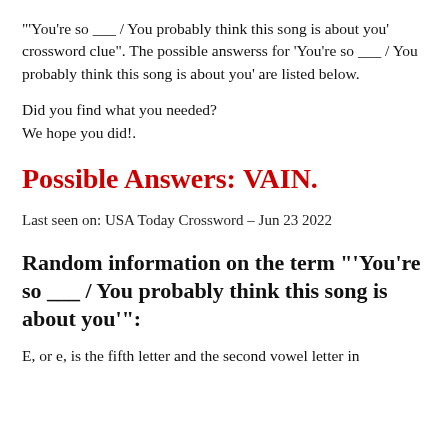"'You're so ___ / You probably think this song is about you' crossword clue". The possible answerss for 'You're so ___ / You probably think this song is about you' are listed below.
Did you find what you needed?
We hope you did!.
Possible Answers: VAIN.
Last seen on: USA Today Crossword – Jun 23 2022
Random information on the term "'You're so ___ / You probably think this song is about you'":
E, or e, is the fifth letter and the second vowel letter in